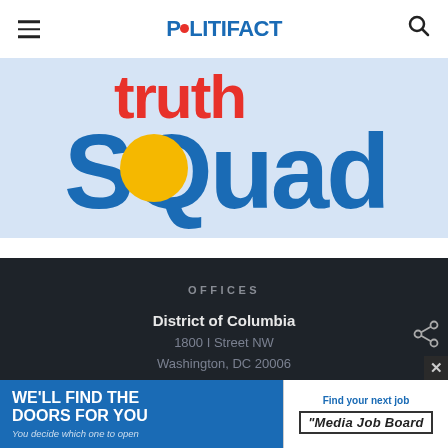POLITIFACT
[Figure (logo): Truth Squad logo with large blue text 'SQuad' and golden circle replacing the 'O', partial red text above on light blue background]
OFFICES
District of Columbia
1800 I Street NW
Washington, DC 20006
Florida
801 3rd St. S
[Figure (infographic): Advertisement banner: left side blue with 'WE'LL FIND THE DOORS FOR YOU / You decide which one to open', right side white with 'Find your next job / Media Job Board']